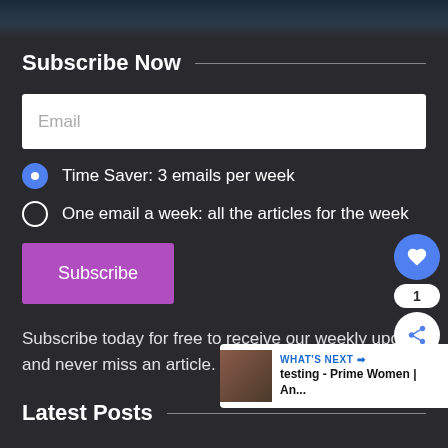[Figure (photo): Dark teal/navy image at top of page, partially visible]
Subscribe Now
Email
Time Saver: 3 emails per week
One email a week: all the articles for the week
Subscribe
Subscribe today for free to receive our weekly updates and never miss an article.
Latest Posts